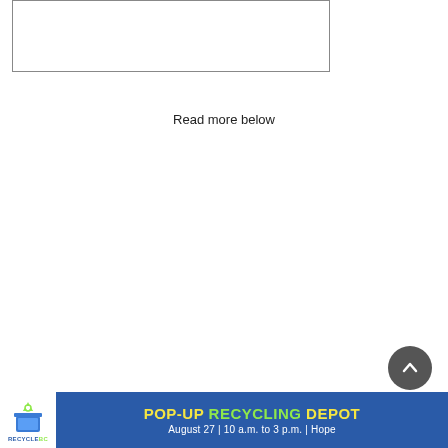[Figure (other): Empty bordered image/content box]
Read more below
[Figure (infographic): RecycleBC Pop-Up Recycling Depot advertisement banner. Logo on left showing blue recycling bin with RecycleBC text. Banner text: POP-UP RECYCLING DEPOT, August 27 | 10 a.m. to 3 p.m. | Hope]